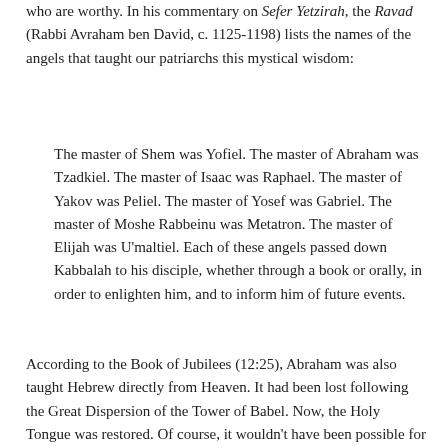who are worthy. In his commentary on Sefer Yetzirah, the Ravad (Rabbi Avraham ben David, c. 1125-1198) lists the names of the angels that taught our patriarchs this mystical wisdom:
The master of Shem was Yofiel. The master of Abraham was Tzadkiel. The master of Isaac was Raphael. The master of Yakov was Peliel. The master of Yosef was Gabriel. The master of Moshe Rabbeinu was Metatron. The master of Elijah was U'maltiel. Each of these angels passed down Kabbalah to his disciple, whether through a book or orally, in order to enlighten him, and to inform him of future events.
According to the Book of Jubilees (12:25), Abraham was also taught Hebrew directly from Heaven. It had been lost following the Great Dispersion of the Tower of Babel. Now, the Holy Tongue was restored. Of course, it wouldn't have been possible for Abraham to learn Kabbalah and the